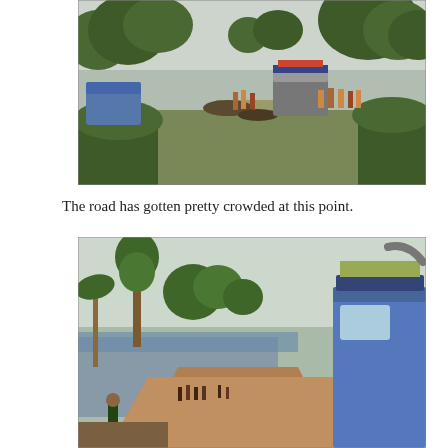[Figure (photo): A muddy rural road scene with a 4WD vehicle stuck in mud, surrounded by green trees and vegetation. Several people are gathered around the vehicle appearing to push it. A blue truck is visible on the left side. The road is a dirt track through tropical landscape under an overcast sky.]
The road has gotten pretty crowded at this point.
[Figure (photo): A flooded rural road scene with people and vehicles on a muddy track beside a large body of water. A blue vehicle with cargo on the roof rack is visible on the right. Palm trees and green trees line the roadside. People are walking along the road in the distance. The scene appears to be in a tropical or subtropical region.]